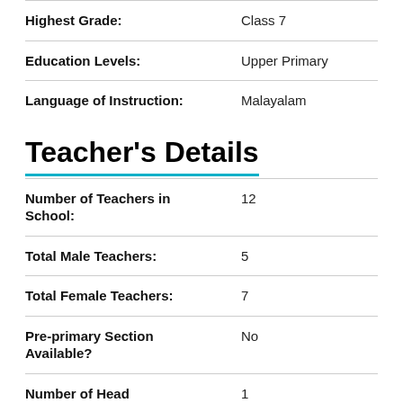| Field | Value |
| --- | --- |
| Highest Grade: | Class 7 |
| Education Levels: | Upper Primary |
| Language of Instruction: | Malayalam |
Teacher's Details
| Field | Value |
| --- | --- |
| Number of Teachers in School: | 12 |
| Total Male Teachers: | 5 |
| Total Female Teachers: | 7 |
| Pre-primary Section Available? | No |
| Number of Head | 1 |